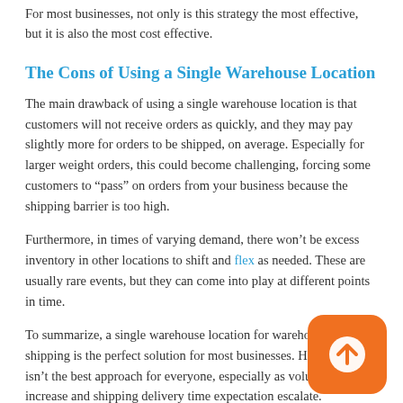For most businesses, not only is this strategy the most effective, but it is also the most cost effective.
The Cons of Using a Single Warehouse Location
The main drawback of using a single warehouse location is that customers will not receive orders as quickly, and they may pay slightly more for orders to be shipped, on average. Especially for larger weight orders, this could become challenging, forcing some customers to “pass” on orders from your business because the shipping barrier is too high.
Furthermore, in times of varying demand, there won’t be excess inventory in other locations to shift and flex as needed. These are usually rare events, but they can come into play at different points in time.
To summarize, a single warehouse location for warehousing and shipping is the perfect solution for most businesses. However, it isn’t the best approach for everyone, especially as volumes increase and shipping delivery time expectation escalate.